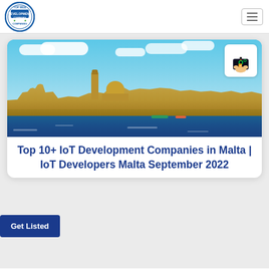[Figure (logo): Top Web Development Companies circular badge logo]
[Figure (photo): Panoramic view of Valletta, Malta waterfront with historic buildings, a domed church, and blue sea in the foreground. An IoT device icon overlay is in the top right corner.]
Top 10+ IoT Development Companies in Malta | IoT Developers Malta September 2022
[Figure (illustration): Get Listed button — dark blue rectangle with white bold text reading 'Get Listed']